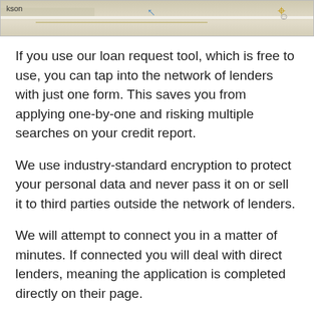[Figure (map): Partial map screenshot showing road/street view with a label 'kson', a blue arrow, and a map icon on the right side]
If you use our loan request tool, which is free to use, you can tap into the network of lenders with just one form. This saves you from applying one-by-one and risking multiple searches on your credit report.
We use industry-standard encryption to protect your personal data and never pass it on or sell it to third parties outside the network of lenders.
We will attempt to connect you in a matter of minutes. If connected you will deal with direct lenders, meaning the application is completed directly on their page.